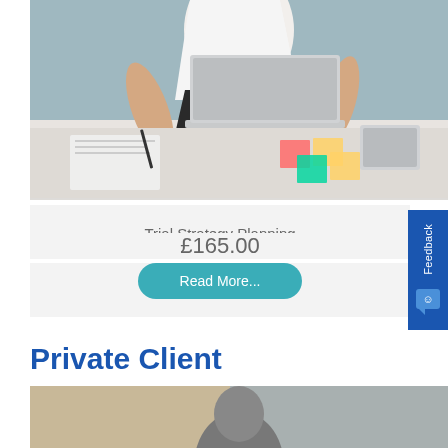[Figure (photo): Person in white shirt leaning over a desk with a laptop and colorful sticky notes]
Trial Strategy Planning
£165.00
Read More...
Private Client
[Figure (photo): Partial photo of a person, bottom portion of page]